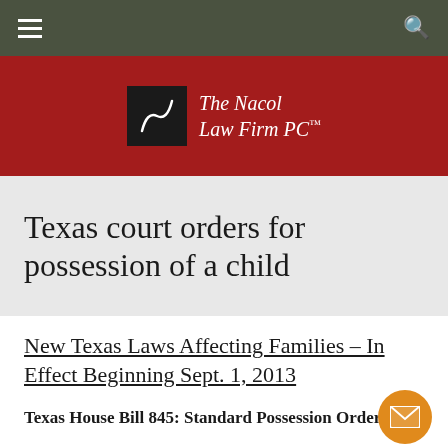Navigation bar with menu and search icons
[Figure (logo): The Nacol Law Firm PC logo — black square with stylized 'N' mark, white italic text 'The Nacol Law Firm PC' with trademark symbol, on dark red background]
Texas court orders for possession of a child
New Texas Laws Affecting Families – In Effect Beginning Sept. 1, 2013
Texas House Bill 845: Standard Possession Order